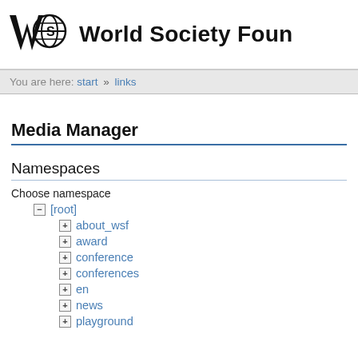World Society Foun
You are here: start » links
Media Manager
Namespaces
Choose namespace
− [root]
+ about_wsf
+ award
+ conference
+ conferences
+ en
+ news
+ playground